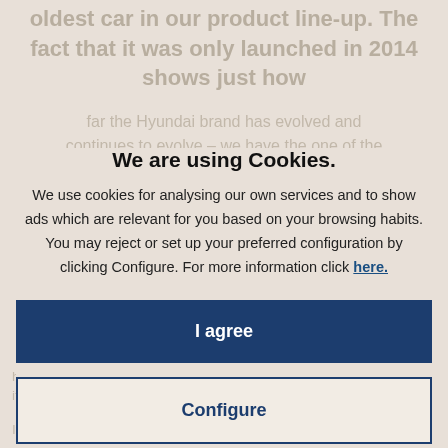oldest car in our product line-up. The fact that it was only launched in 2014 shows just how
far the Hyundai brand has evolved and continues to evolve – we have the one of the
We are using Cookies.
We use cookies for analysing our own services and to show ads which are relevant for you based on your browsing habits. You may reject or set up your preferred configuration by clicking Configure. For more information click here.
commercially available hydrogen-powered vehicle available to buy right now.
I agree
Configure
he ix35 Fuel Cell is fitted with 100 kW (136 PS) electr- ritor, allowing it to reach a maximum speed of 160 kmh
It produces no harmful emissions during driving, yet only